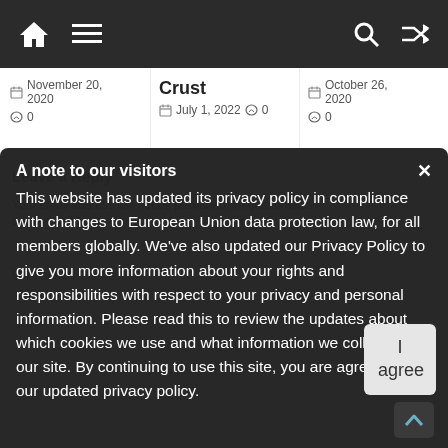Navigation bar with home, menu, search, and shuffle icons
November 20, 2020  0
Crust
July 1, 2022  0
October 26, 2020  0
A note to our visitors
This website has updated its privacy policy in compliance with changes to European Union data protection law, for all members globally. We've also updated our Privacy Policy to give you more information about your rights and responsibilities with respect to your privacy and personal information. Please read this to review the updates about which cookies we use and what information we collect on our site. By continuing to use this site, you are agreeing to our updated privacy policy.